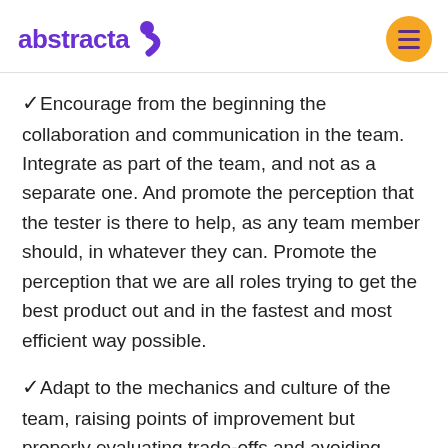abstracta
Encourage from the beginning the collaboration and communication in the team. Integrate as part of the team, and not as a separate one. And promote the perception that the tester is there to help, as any team member should, in whatever they can. Promote the perception that we are all roles trying to get the best product out and in the fastest and most efficient way possible.
Adapt to the mechanics and culture of the team, raising points of improvement but properly evaluating trade-offs and avoiding adding weight to the team. Help